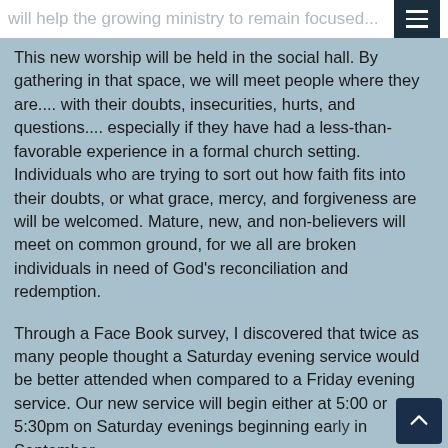will help the growing ministry to remain focused...
This new worship will be held in the social hall. By gathering in that space, we will meet people where they are.... with their doubts, insecurities, hurts, and questions.... especially if they have had a less-than-favorable experience in a formal church setting. Individuals who are trying to sort out how faith fits into their doubts, or what grace, mercy, and forgiveness are will be welcomed. Mature, new, and non-believers will meet on common ground, for we all are broken individuals in need of God's reconciliation and redemption.
Through a Face Book survey, I discovered that twice as many people thought a Saturday evening service would be better attended when compared to a Friday evening service. Our new service will begin either at 5:00 or 5:30pm on Saturday evenings beginning early in September.